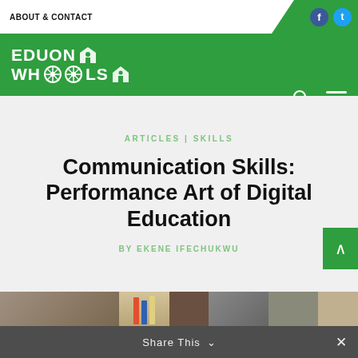ABOUT & CONTACT
[Figure (logo): EDUON WHOOLS logo with wheel and house icons on green background]
ARTICLES | SKILLS
Communication Skills: Performance Art of Digital Education
BY EKENE IFECHUKWU
[Figure (photo): Library bookshelf photo strip at bottom of page]
Share This